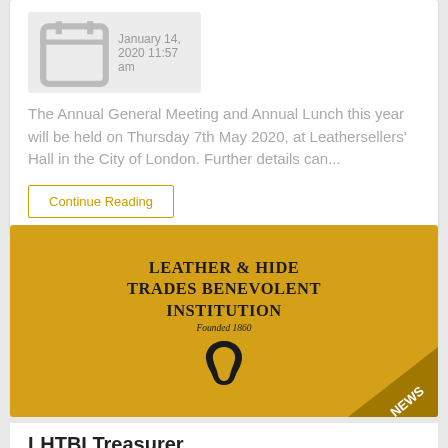January 14, 2020 11:57 am
The Annual General Meeting and Annual Lunch this year will be held on Thursday 7th May 2020, at Leathersellers' Hall in the City of London. Further details can...
Continue Reading
[Figure (logo): Leather & Hide Trades Benevolent Institution logo on gold background with NEWS badge in bottom right corner]
LHTBI Treasurer
July 10, 2019 10:34 am